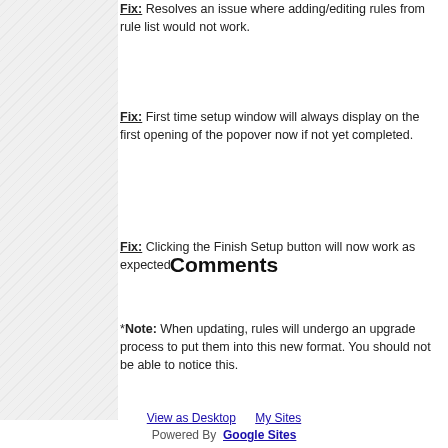Fix: Resolves an issue where adding/editing rules from rule list would not work.
Fix: First time setup window will always display on the first opening of the popover now if not yet completed.
Fix: Clicking the Finish Setup button will now work as expected.
*Note: When updating, rules will undergo an upgrade process to put them into this new format. You should not be able to notice this.
Comments
View as Desktop   My Sites
Powered By  Google Sites